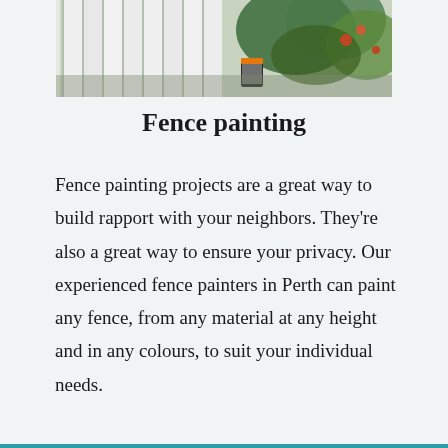[Figure (photo): Photo of a white fence being painted, with a paint can visible and green plants/shrubs in the background]
Fence painting
Fence painting projects are a great way to build rapport with your neighbors. They're also a great way to ensure your privacy. Our experienced fence painters in Perth can paint any fence, from any material at any height and in any colours, to suit your individual needs.